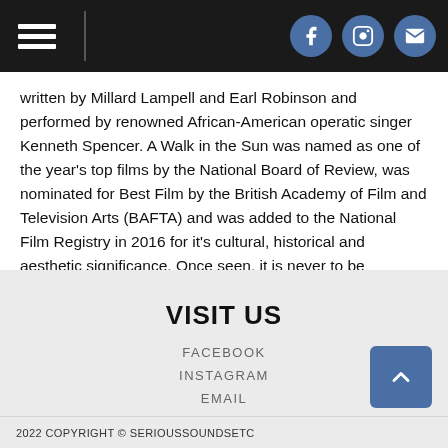Navigation header with hamburger menu and social icons (Facebook, Instagram, Email)
written by Millard Lampell and Earl Robinson and performed by renowned African-American operatic singer Kenneth Spencer. A Walk in the Sun was named as one of the year's top films by the National Board of Review, was nominated for Best Film by the British Academy of Film and Television Arts (BAFTA) and was added to the National Film Registry in 2016 for it's cultural, historical and aesthetic significance. Once seen, it is never to be forgotten.
VISIT US
FACEBOOK
INSTAGRAM
EMAIL
2022 COPYRIGHT © SERIOUSSOUNDSETC